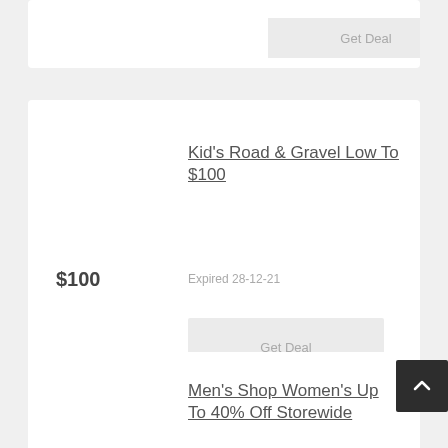Get Deal
Kid's Road & Gravel Low To $100
$100
Expired 28-12-21
Get Deal
Men's Shop Women's Up To 40% Off Storewide
40%
Expired 3-8-22
Get Deal